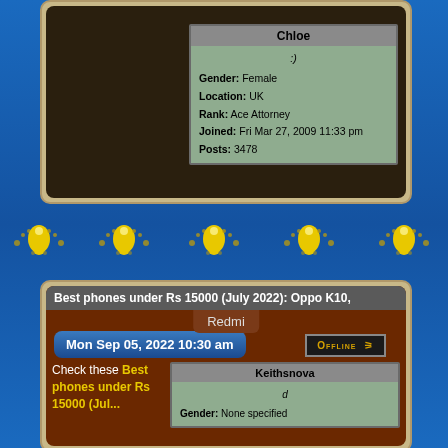[Figure (screenshot): Forum post card showing user profile for Chloe with gender Female, location UK, rank Ace Attorney, joined Fri Mar 27 2009 11:33 pm, posts 3478]
[Figure (illustration): Decorative divider with golden teardrop/pin shapes arranged in a row on blue background]
[Figure (screenshot): Forum post card titled Best phones under Rs 15000 (July 2022): Oppo K10, Redmi, dated Mon Sep 05 2022 10:30 am, user Keithsnova, gender None specified, offline status badge]
Check these Best phones under Rs 15000 (Jul...